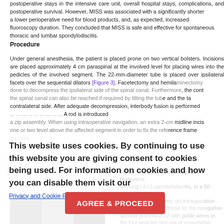postoperative stays in the intensive care unit, overall hospital stays, complications, and postoperative survival. However, MISS was associated with a significantly shorter ... a lower perioperative need for blood products, and, as expected, increased fluoroscopy duration. They concluded that MISS is safe and effective for spontaneous thoracic and lumbar spondylodiscitis.
Procedure
Under general anesthesia, the patient is placed prone on two vertical bolsters. Incisions are placed approximately 4 cm paraspinal at the involved level for placing wires into the pedicles of the involved segment. The 22-mm-diameter tube is placed over ipsilateral facets over the sequential dilators [Figure 3]. Facetectomy and hemilarninectomy done to decompress the ipsilateral side of the spinal canal. Furthermore, the contralateral the spinal canal can also be reached if required by tilting the tube and the table to the contralateral side. After adequate decompression, interbody fusion is performed ... A rod is introduced ... a zip assembly. When using intraoperative navigation, an extra 2-cm midline incision one or two level above the affected segment in order to fix the reference frame ... process.
This website uses cookies. By continuing to use this website you are giving consent to cookies being used. For information on cookies and how you can disable them visit our
Privacy and Cookie Policy.
Figure 3: (a-d) X-ray and magnetic resonance imaging showing L4 L5 spondylodiscitis, in a 50-year-old patient, weeks post-discectomy. (e) Intraoperative image showing a reference frame for the navigation pinned to the spinous process of L2 with guide wires inserted in the four pedicles and use of a navigable ...
[Figure (photo): Medical/surgical images related to the procedure described]